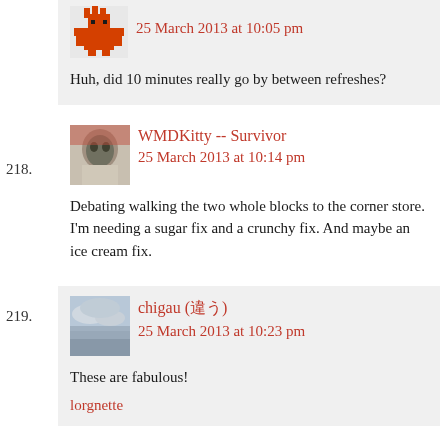[Figure (photo): Pixel art avatar icon, orange/red tones]
25 March 2013 at 10:05 pm
Huh, did 10 minutes really go by between refreshes?
218.
[Figure (photo): Avatar photo of a figure in costume]
WMDKitty -- Survivor
25 March 2013 at 10:14 pm
Debating walking the two whole blocks to the corner store. I'm needing a sugar fix and a crunchy fix. And maybe an ice cream fix.
219.
[Figure (photo): Avatar photo of cloudy sky]
chigau (違う)
25 March 2013 at 10:23 pm
These are fabulous!
lorgnette